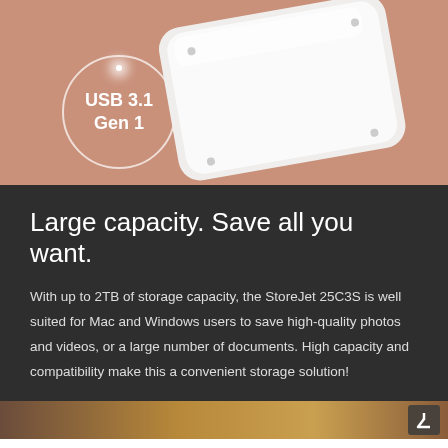[Figure (photo): Product photo of a slim silver external hard drive on a rose/copper-toned background, with a circular badge overlay reading 'USB 3.1 Gen 1' in white text]
Large capacity. Save all you want.
With up to 2TB of storage capacity, the StoreJet 25C3S is well suited for Mac and Windows users to save high-quality photos and videos, or a large number of documents. High capacity and compatibility make this a convenient storage solution!
[Figure (photo): Bottom edge of another product image visible at the bottom of the page, warm brown/gold tones]